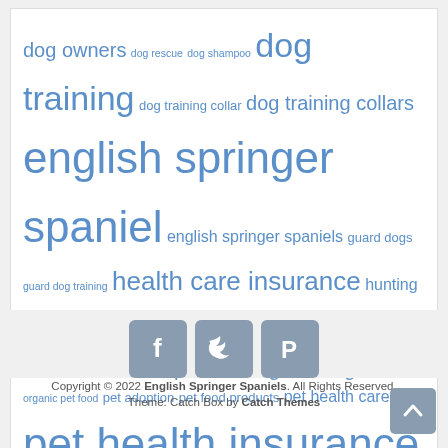dog owners dog rescue dog shampoo dog training dog training collar dog training collars english springer spaniel english springer spaniels guard dogs guard dog training health care insurance hunting dog training hypoallergenic dogs labrador retriever natural pet food organic dog food organic pet food pet adoption pet food products pet health care pet health insurance pet insurance pet insurance companies pet owners pit bull terrier police dog training positive reinforcement puppy puppy training separation anxiety terrier breeds training dogs training your puppy vet bills veterinary pet insurance
[Figure (infographic): Social media icons: Facebook (f), Twitter (bird), Pinterest (P) — three rounded square gray buttons]
Copyright © 2022 English Springer Spaniels. All Rights Reserved. Theme: Catch Box by Catch Themes